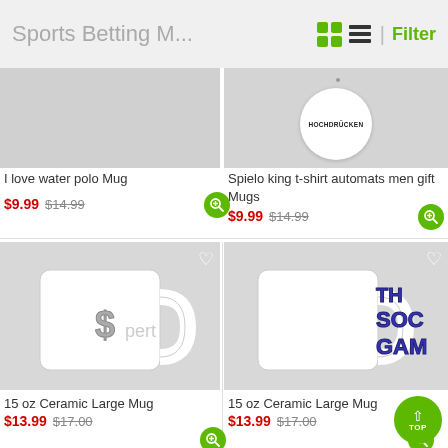Sports Betting M...
[Figure (photo): Partial product image - I love water polo Mug]
[Figure (photo): Partial product image with HOCHDRÜCKEN circle badge - Spielo king t-shirt automats men gift Mugs]
I love water polo Mug
$9.99  $14.99
Spielo king t-shirt automats men gift Mugs
$9.99  $14.99
[Figure (photo): White 15 oz ceramic large mug with dollar sign graphic]
[Figure (photo): White 15 oz ceramic large mug with SOCCER GAME colorful text]
15 oz Ceramic Large Mug
$13.99  $17.00
15 oz Ceramic Large Mug
$13.99  $17.00